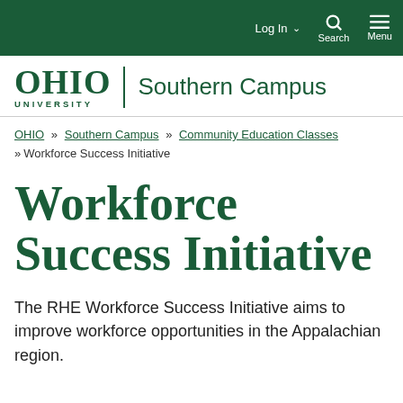Log In  Search  Menu
[Figure (logo): Ohio University Southern Campus logo with green text on white background]
OHIO » Southern Campus » Community Education Classes » Workforce Success Initiative
Workforce Success Initiative
The RHE Workforce Success Initiative aims to improve workforce opportunities in the Appalachian region.